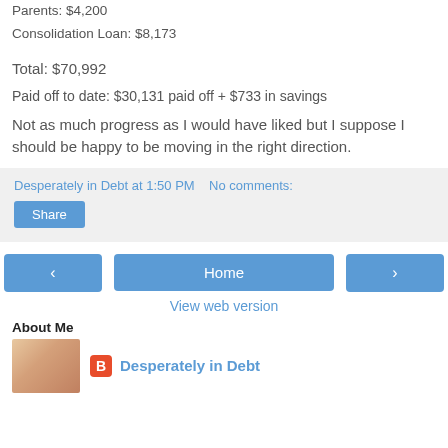Parents: $4,200
Consolidation Loan: $8,173
Total: $70,992
Paid off to date: $30,131 paid off + $733 in savings
Not as much progress as I would have liked but I suppose I should be happy to be moving in the right direction.
Desperately in Debt at 1:50 PM   No comments:
Share
Home
View web version
About Me
Desperately in Debt